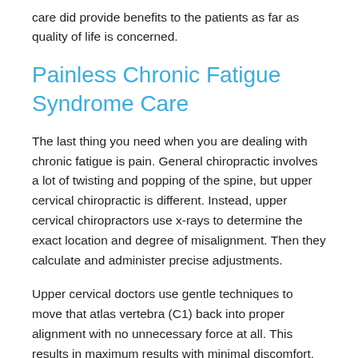care did provide benefits to the patients as far as quality of life is concerned.
Painless Chronic Fatigue Syndrome Care
The last thing you need when you are dealing with chronic fatigue is pain. General chiropractic involves a lot of twisting and popping of the spine, but upper cervical chiropractic is different. Instead, upper cervical chiropractors use x-rays to determine the exact location and degree of misalignment. Then they calculate and administer precise adjustments.
Upper cervical doctors use gentle techniques to move that atlas vertebra (C1) back into proper alignment with no unnecessary force at all. This results in maximum results with minimal discomfort.